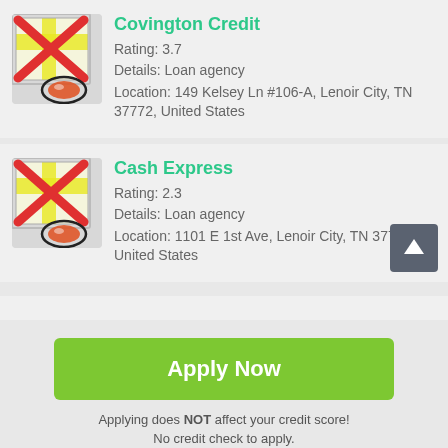[Figure (infographic): Map icon with red X overlay and location pin, representing Covington Credit listing]
Covington Credit
Rating: 3.7
Details: Loan agency
Location: 149 Kelsey Ln #106-A, Lenoir City, TN 37772, United States
[Figure (infographic): Map icon with red X overlay and location pin, representing Cash Express listing]
Cash Express
Rating: 2.3
Details: Loan agency
Location: 1101 E 1st Ave, Lenoir City, TN 37771, United States
[Figure (screenshot): Green Apply Now button]
Applying does NOT affect your credit score!
No credit check to apply.